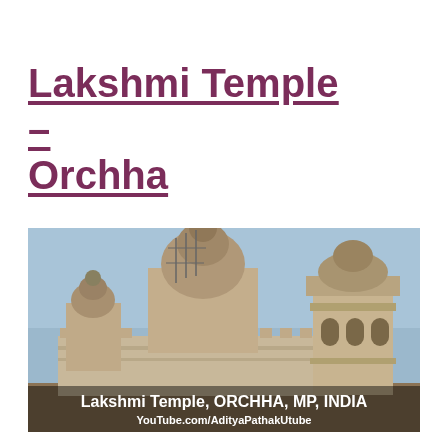Lakshmi Temple – Orchha
[Figure (photo): Photograph of Lakshmi Temple in Orchha, Madhya Pradesh, India. The image shows a grand historical Hindu temple complex with multiple domes and ornate towers against a blue sky. Scaffolding is visible on the central dome. White overlaid text reads 'Lakshmi Temple, ORCHHA, MP, INDIA' and 'YouTube.com/AdityaPathakUtube'.]
Lakshmi Temple, ORCHHA, MP, INDIA
YouTube.com/AdityaPathakUtube